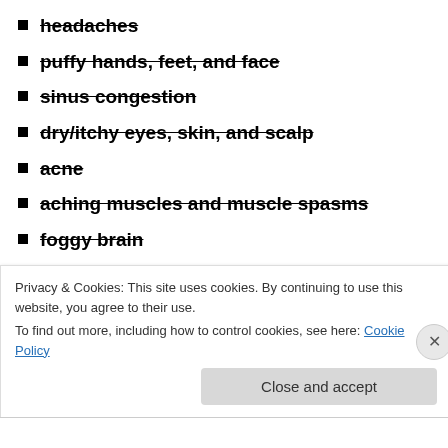headaches
puffy hands, feet, and face
sinus congestion
dry/itchy eyes, skin, and scalp
acne
aching muscles and muscle spasms
foggy brain
irritability
mood swings
blood sugar fluctuations
fatigue – still having bouts of fatigue, but not as bad
Privacy & Cookies: This site uses cookies. By continuing to use this website, you agree to their use. To find out more, including how to control cookies, see here: Cookie Policy